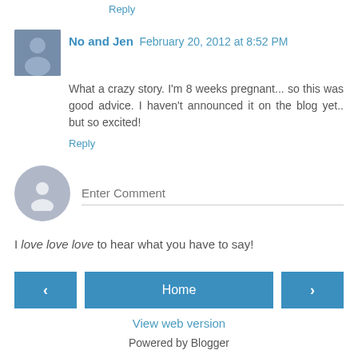giving birth!! Go you!!
Reply
No and Jen  February 20, 2012 at 8:52 PM
What a crazy story. I'm 8 weeks pregnant... so this was good advice. I haven't announced it on the blog yet.. but so excited!
Reply
[Figure (other): Enter comment input box with avatar placeholder icon]
I love love love to hear what you have to say!
< Home >
View web version
Powered by Blogger